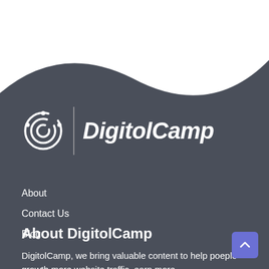[Figure (logo): DigitolCamp logo with circular network icon and bold italic text 'DigitolCamp' on dark background]
About
Contact Us
Blog
About DigitolCamp
DigitolCamp, we bring valuable content to help poeple growth more website traffic, earn more